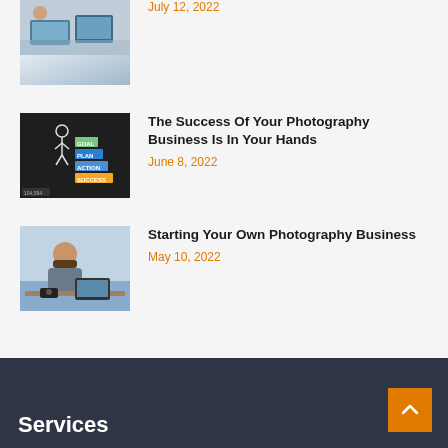[Figure (photo): Thumbnail photo of people working with laptops at a desk (partially cropped at top)]
July 12, 2022
[Figure (photo): Thumbnail photo of a blackboard with a stickman figure and colored step labels: SUCCESS, ACTION, PLAN, GOAL]
The Success Of Your Photography Business Is In Your Hands
June 8, 2022
[Figure (photo): Thumbnail photo of a bearded man sitting at a desk looking stressed, with a camera in front]
Starting Your Own Photography Business
May 10, 2022
Services